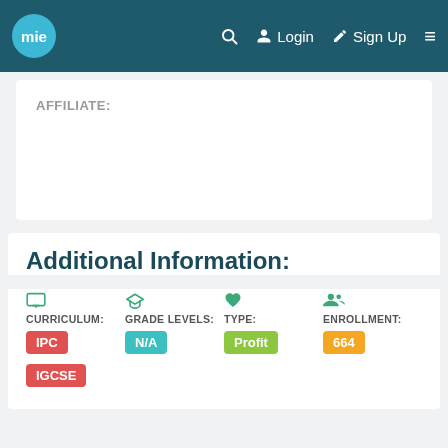mie  Login  Sign Up  ≡
AFFILIATE:
Additional Information:
CURRICULUM: IPC, IGCSE   GRADE LEVELS: N/A   TYPE: Profit   ENROLLMENT: 664